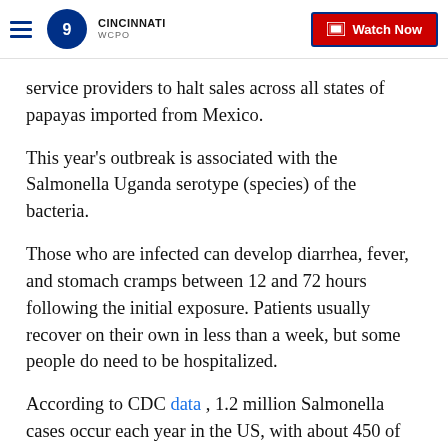WCPO 9 CINCINNATI | Watch Now
service providers to halt sales across all states of papayas imported from Mexico.
This year's outbreak is associated with the Salmonella Uganda serotype (species) of the bacteria.
Those who are infected can develop diarrhea, fever, and stomach cramps between 12 and 72 hours following the initial exposure. Patients usually recover on their own in less than a week, but some people do need to be hospitalized.
According to CDC data , 1.2 million Salmonella cases occur each year in the US, with about 450 of the cases leading to death.